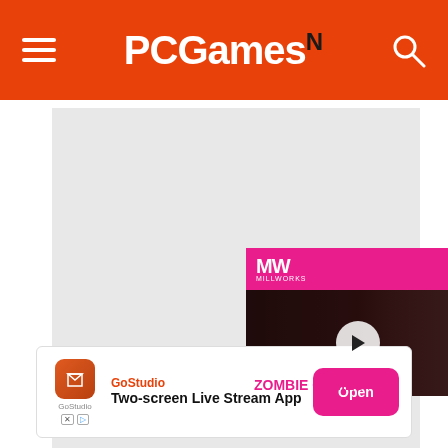PCGamesN
[Figure (screenshot): Large gray placeholder content area below the header]
[Figure (screenshot): Video overlay panel showing 'BEST ZOMBIE GAMES' with MW logo, play button, and character image. Close button (X) in top-right corner.]
[Figure (infographic): Bottom advertisement banner: GoStudio app ad with 'Two-screen Live Stream App' text and pink Open button]